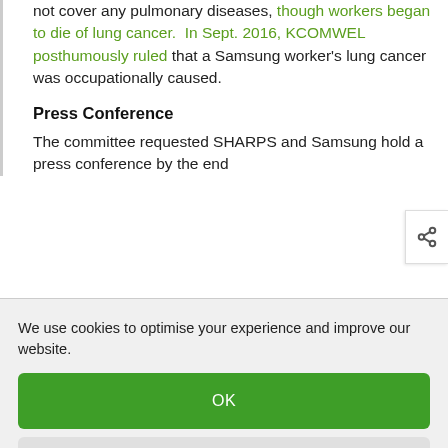not cover any pulmonary diseases, though workers began to die of lung cancer.  In Sept. 2016, KCOMWEL posthumously ruled that a Samsung worker's lung cancer was occupationally caused.
Press Conference
The committee requested SHARPS and Samsung hold a press conference by the end
We use cookies to optimise your experience and improve our website.
OK
PREFERENCES